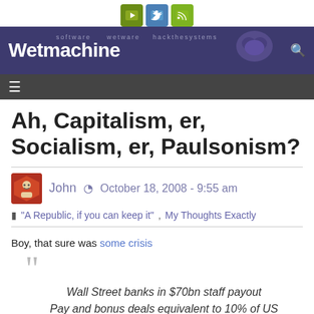Wetmachine
Ah, Capitalism, er, Socialism, er, Paulsonism?
John   October 18, 2008 - 9:55 am
"A Republic, if you can keep it",  My Thoughts Exactly
Boy, that sure was some crisis
Wall Street banks in $70bn staff payout
Pay and bonus deals equivalent to 10% of US